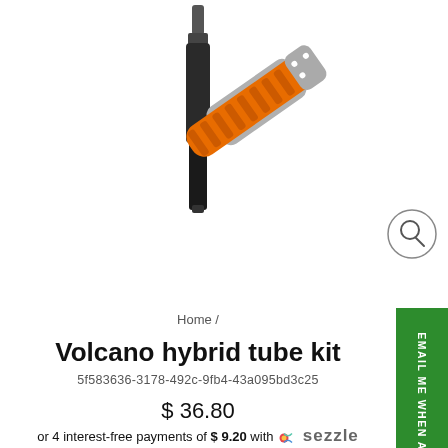[Figure (photo): Two product images: a black torch/tool on the left and an orange grip tool on the right, on white background]
[Figure (illustration): Circular search/magnify icon in the top right area]
Home /
Volcano hybrid tube kit
5f583636-3178-492c-9fb4-43a095bd3c25
$ 36.80
or 4 interest-free payments of $ 9.20 with Sezzle
Shipping calculated at checkout.
Fast Shipping
EMAIL ME WHEN AVAILABLE